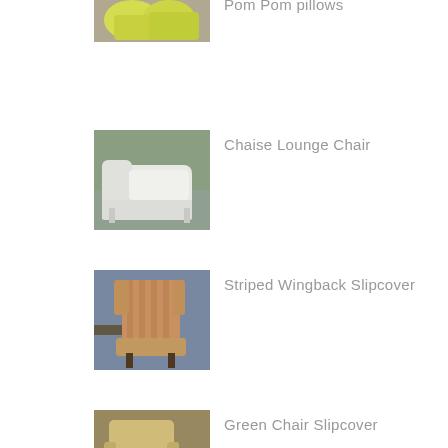[Figure (photo): Pom Pom pillows - yellow/green decorative pillows on a surface, partially visible]
Pom Pom pillows
[Figure (photo): Chaise Lounge Chair - white slipcovered chaise lounge chair outdoors]
Chaise Lounge Chair
[Figure (photo): Striped Wingback Slipcover - wingback chair with striped slipcover in brown/tan tones]
Striped Wingback Slipcover
[Figure (photo): Green Chair Slipcover - chair with green/tan slipcover]
Green Chair Slipcover